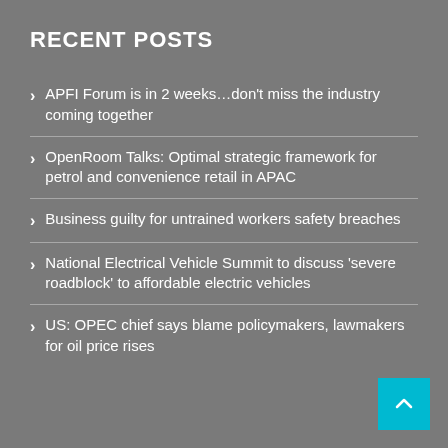RECENT POSTS
APFI Forum is in 2 weeks…don't miss the industry coming together
OpenRoom Talks: Optimal strategic framework for petrol and convenience retail in APAC
Business guilty for untrained workers safety breaches
National Electrical Vehicle Summit to discuss 'severe roadblock' to affordable electric vehicles
US: OPEC chief says blame policymakers, lawmakers for oil price rises